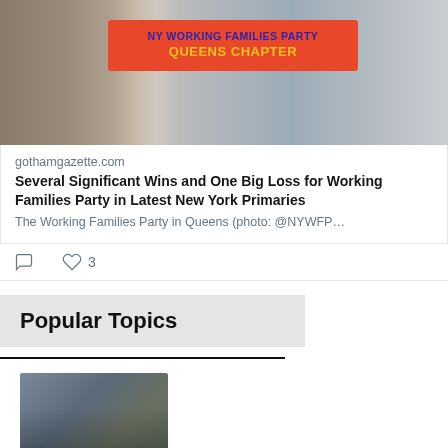[Figure (photo): People holding an orange banner reading 'NY Working Families Party Queens Chapter' with a globe logo]
gothamgazette.com
Several Significant Wins and One Big Loss for Working Families Party in Latest New York Primaries
The Working Families Party in Queens (photo: @NYWFP…
Popular Topics
[Figure (photo): People in a crowd, one person raising fist wearing green scarf]